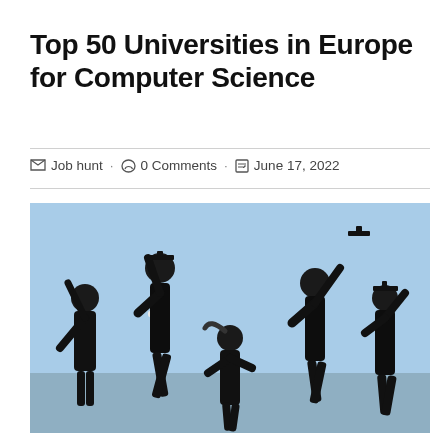Top 50 Universities in Europe for Computer Science
Job hunt · 0 Comments · June 17, 2022
[Figure (photo): Group of graduating students in black robes and caps, jumping and celebrating against a blue sky background.]